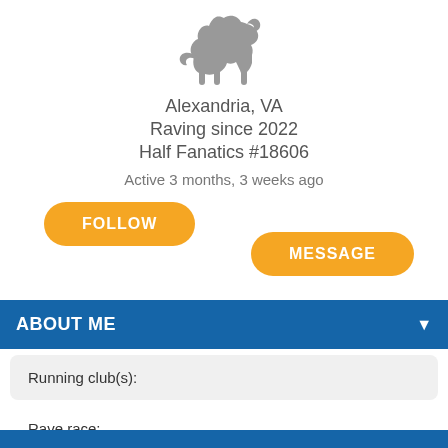[Figure (illustration): Gray silhouette of a running horse]
Alexandria, VA
Raving since 2022
Half Fanatics #18606
Active 3 months, 3 weeks ago
FOLLOW
MESSAGE
ABOUT ME
Running club(s):
Rave race:
Race that's calling my name:
I run because: